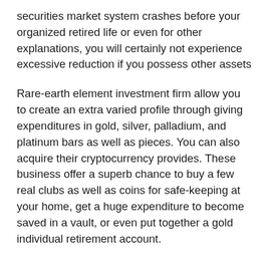securities market system crashes before your organized retired life or even for other explanations, you will certainly not experience excessive reduction if you possess other assets
Rare-earth element investment firm allow you to create an extra varied profile through giving expenditures in gold, silver, palladium, and platinum bars as well as pieces. You can also acquire their cryptocurrency provides. These business offer a superb chance to buy a few real clubs as well as coins for safe-keeping at your home, get a huge expenditure to become saved in a vault, or even put together a gold individual retirement account.